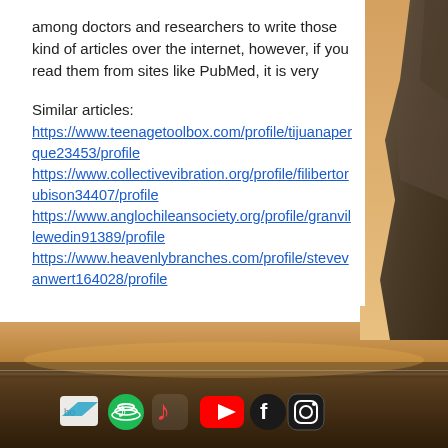among doctors and researchers to write those kind of articles over the internet, however, if you read them from sites like PubMed, it is very
Similar articles:
https://www.teenagetoolbox.com/profile/tijuanaperque23453/profile
https://www.collectivevibration.org/profile/filibertorubison34407/profile
https://www.anglochileansociety.org/profile/granvillewedin91389/profile
https://www.heavenlybranches.com/profile/stevevanwert164028/profile
[Figure (photo): A background landscape photo showing a sunset over a field/grassland with warm golden tones, partially overlaid by a rocky cliff on the right side. The bottom portion shows social media icons (Bandcamp, Spotify, Apple Music, YouTube, Facebook, Instagram).]